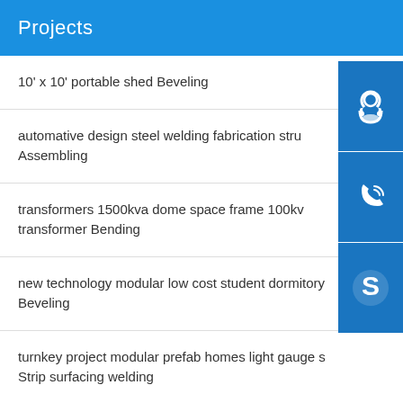Projects
10' x 10' portable shed Beveling
automative design steel welding fabrication stru... Assembling
transformers 1500kva dome space frame 100kv... transformer Bending
new technology modular low cost student dormitory Beveling
turnkey project modular prefab homes light gauge s... Strip surfacing welding
light steel structure project warehouse Slitting